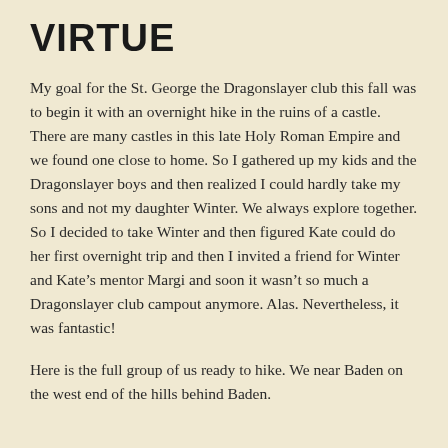VIRTUE
My goal for the St. George the Dragonslayer club this fall was to begin it with an overnight hike in the ruins of a castle.  There are many castles in this late Holy Roman Empire and we found one close to home. So I gathered up my kids and the Dragonslayer boys and then realized I could hardly take my sons and not my daughter Winter. We always explore together. So I decided to take Winter and then figured Kate could do her first overnight trip and then I invited a friend for Winter and Kate’s mentor Margi and soon it wasn’t so much a Dragonslayer club campout anymore. Alas. Nevertheless, it was fantastic!
Here is the full group of us ready to hike. We near Baden on the west end of the hills behind Baden.